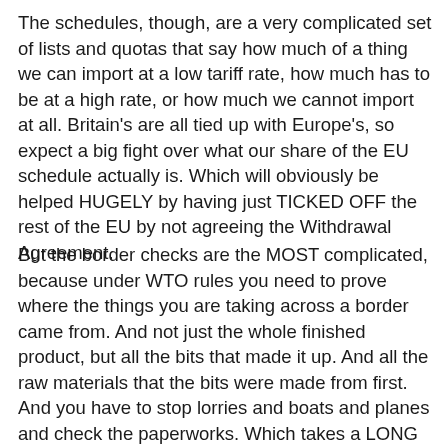The schedules, though, are a very complicated set of lists and quotas that say how much of a thing we can import at a low tariff rate, how much has to be at a high rate, or how much we cannot import at all. Britain's are all tied up with Europe's, so expect a big fight over what our share of the EU schedule actually is. Which will obviously be helped HUGELY by having just TICKED OFF the rest of the EU by not agreeing the Withdrawal Agreement.
But the border checks are the MOST complicated, because under WTO rules you need to prove where the things you are taking across a border came from. And not just the whole finished product, but all the bits that made it up. And all the raw materials that the bits were made from first. And you have to stop lorries and boats and planes and check the paperworks. Which takes a LONG time. At the moment, in the Single Market, we get a lorry though the port of Dover every TEN SECONDS. Just how much of a delay do you think it will need to be before those lorries start backing up along the M20? Hello carpark-Kent. Hello food shortages and soon food riots. Hello people starting to DIE from lack of medicines.